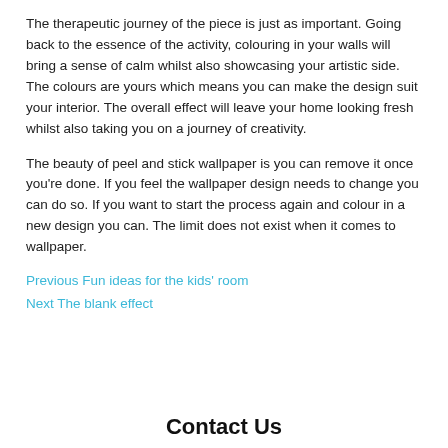The therapeutic journey of the piece is just as important. Going back to the essence of the activity, colouring in your walls will bring a sense of calm whilst also showcasing your artistic side. The colours are yours which means you can make the design suit your interior. The overall effect will leave your home looking fresh whilst also taking you on a journey of creativity.
The beauty of peel and stick wallpaper is you can remove it once you're done. If you feel the wallpaper design needs to change you can do so. If you want to start the process again and colour in a new design you can. The limit does not exist when it comes to wallpaper.
Previous Fun ideas for the kids' room
Next The blank effect
Contact Us